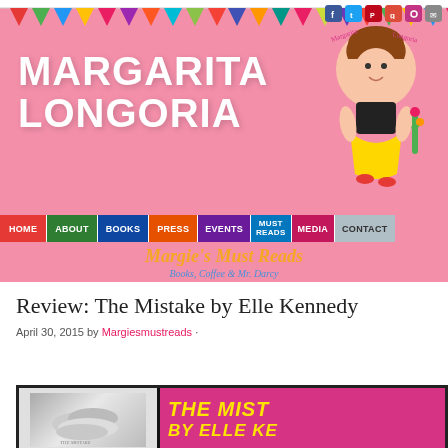[Figure (screenshot): Website header for Margarita Longoria blog with pink background, colorful bunting flags, illustrated character, navigation bar, and 'Margie's Must Reads' subtitle section.]
Review: The Mistake by Elle Kennedy
April 30, 2015 by Margiesmustreads ·
[Figure (photo): Book review banner showing black-and-white image of hands on left and magenta/pink panel on right with yellow italic text reading 'THE MIST' (The Mistake) and 'BY ELLE KE' (By Elle Kennedy) partially visible.]